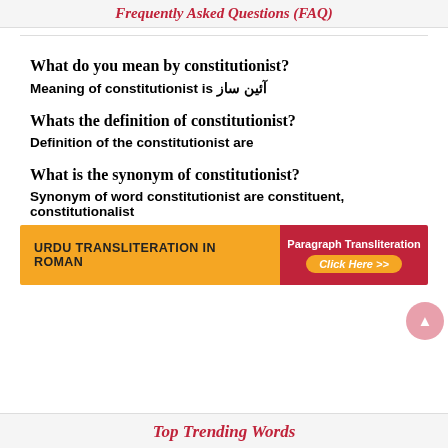Frequently Asked Questions (FAQ)
What do you mean by constitutionist?
Meaning of constitutionist is آئین ساز
Whats the definition of constitutionist?
Definition of the constitutionist are
What is the synonym of constitutionist?
Synonym of word constitutionist are constituent, constitutionalist
[Figure (infographic): Banner with orange left panel 'Urdu Transliteration in Roman' and red right panel 'Paragraph Transliteration Click Here >>']
Top Trending Words